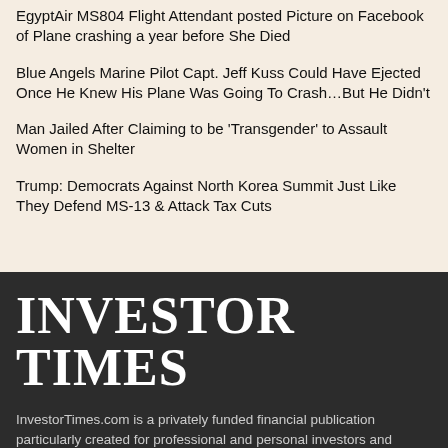EgyptAir MS804 Flight Attendant posted Picture on Facebook of Plane crashing a year before She Died
Blue Angels Marine Pilot Capt. Jeff Kuss Could Have Ejected Once He Knew His Plane Was Going To Crash…But He Didn't
Man Jailed After Claiming to be 'Transgender' to Assault Women in Shelter
Trump: Democrats Against North Korea Summit Just Like They Defend MS-13 & Attack Tax Cuts
INVESTOR TIMES
InvestorTimes.com is a privately funded financial publication particularly created for professional and personal investors and intellectually restless individuals.